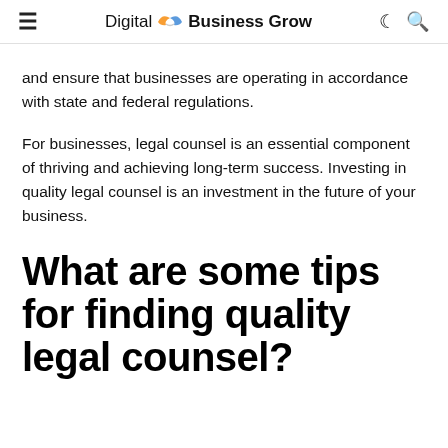Digital Business Grow
and ensure that businesses are operating in accordance with state and federal regulations.
For businesses, legal counsel is an essential component of thriving and achieving long-term success. Investing in quality legal counsel is an investment in the future of your business.
What are some tips for finding quality legal counsel?